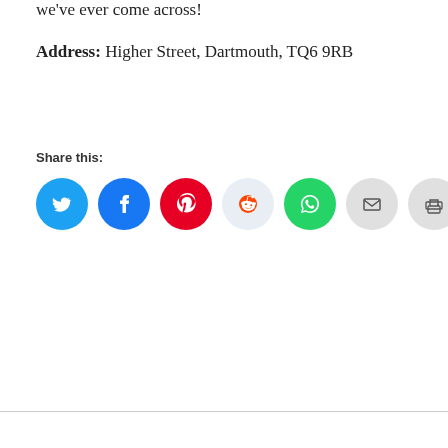we've ever come across!
Address: Higher Street, Dartmouth, TQ6 9RB
Share this:
[Figure (other): Row of social share buttons: Twitter (blue circle), Facebook (blue circle), Pinterest (red circle), Reddit (light blue circle), WhatsApp (green circle), Email (grey circle), Print (grey circle), and a More button with share icon.]